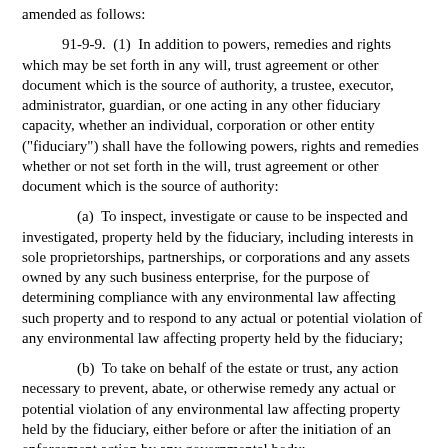amended as follows:
91-9-9.  (1)  In addition to powers, remedies and rights which may be set forth in any will, trust agreement or other document which is the source of authority, a trustee, executor, administrator, guardian, or one acting in any other fiduciary capacity, whether an individual, corporation or other entity ("fiduciary") shall have the following powers, rights and remedies whether or not set forth in the will, trust agreement or other document which is the source of authority:
(a)  To inspect, investigate or cause to be inspected and investigated, property held by the fiduciary, including interests in sole proprietorships, partnerships, or corporations and any assets owned by any such business enterprise, for the purpose of determining compliance with any environmental law affecting such property and to respond to any actual or potential violation of any environmental law affecting property held by the fiduciary;
(b)  To take on behalf of the estate or trust, any action necessary to prevent, abate, or otherwise remedy any actual or potential violation of any environmental law affecting property held by the fiduciary, either before or after the initiation of an enforcement action by any governmental body;
(c)  To refuse to accept property if the fiduciary